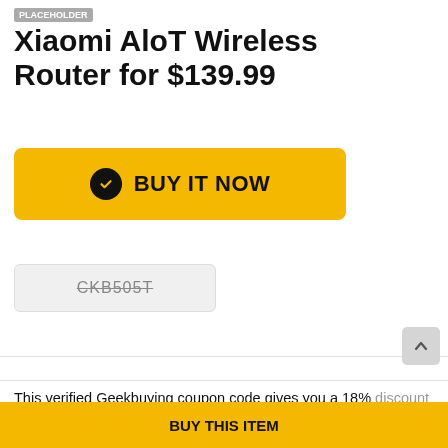Xiaomi AloT Wireless Router for $139.99
BUY IT NOW
CKB505T
This verified Geekbuying coupon code gives you a 18% discount when you activate the code at the checkout page. Xiaomi AloT Wireless Router AX3600
BUY THIS ITEM